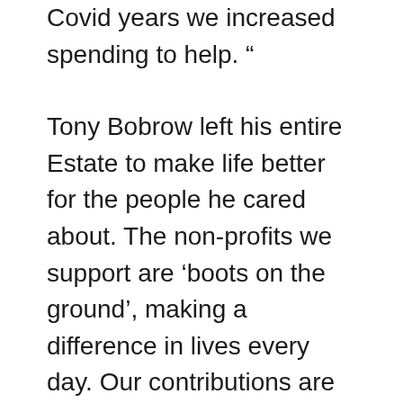Covid years we increased spending to help. “
Tony Bobrow left his entire Estate to make life better for the people he cared about. The non-profits we support are ‘boots on the ground’, making a difference in lives every day. Our contributions are unrestricted and can be used for what the organizations see as their priorities.”
“In 2018 we had no idea numbers like this were achievable. Although Tony